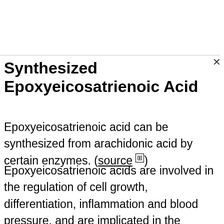Synthesized Epoxyeicosatrienoic Acid
Epoxyeicosatrienoic acid can be synthesized from arachidonic acid by certain enzymes. (source ⊡)
Epoxyeicosatrienoic acids are involved in the regulation of cell growth, differentiation, inflammation and blood pressure, and are implicated in the pathology of hypertension and thrombosis.